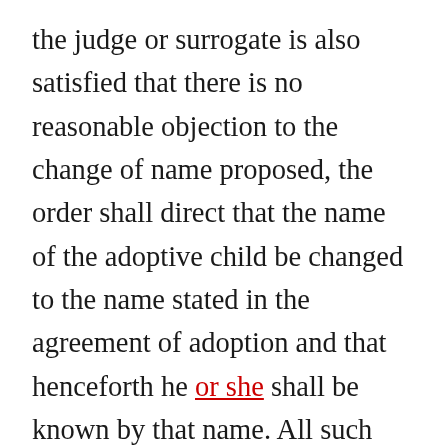the judge or surrogate is also satisfied that there is no reasonable objection to the change of name proposed, the order shall direct that the name of the adoptive child be changed to the name stated in the agreement of adoption and that henceforth he or she shall be known by that name. All such orders made by a family court judge of Westchester county since September first, nineteen hundred sixty-two, and on file in the office of the county clerk of such county shall be transferred to the clerk of the family court of such county. Such order and all the papers in the proceeding shall be filed in the office of the court granting the adoption